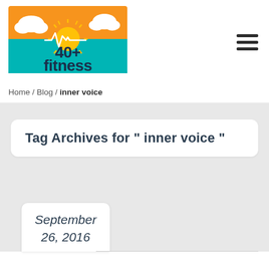[Figure (logo): 40+ Fitness logo with orange sky, sun, clouds, teal background, and bold text '40+ fitness' with a heartbeat line]
Home / Blog / inner voice
Tag Archives for " inner voice "
September 26, 2016